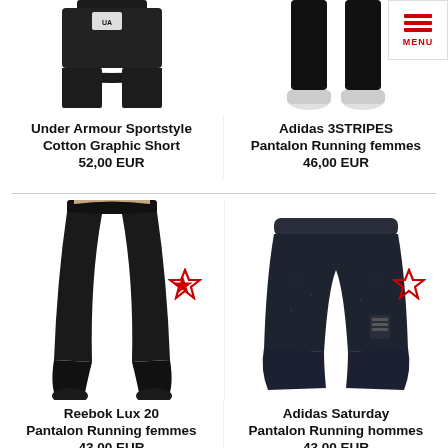[Figure (photo): Cropped top portion of Under Armour shorts on model — black shorts, partial torso view]
[Figure (photo): Cropped bottom portion of Adidas running pants on model — black pants, legs and feet visible]
Under Armour Sportstyle Cotton Graphic Short
52,00 EUR
Adidas 3STRIPES Pantalon Running femmes
46,00 EUR
[Figure (photo): Reebok Lux 20 running tights on female model — black full-length leggings with running shoes]
[Figure (photo): Adidas Saturday running shorts — dark navy blue shorts laid flat on white background]
Reebok Lux 20 Pantalon Running femmes
43,00 EUR
Adidas Saturday Pantalon Running hommes
43,00 EUR